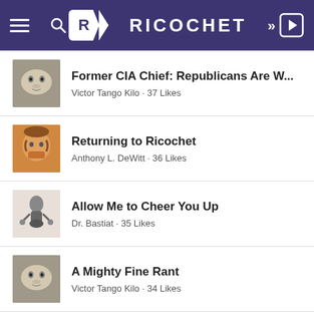RICOCHET
Former CIA Chief: Republicans Are W...
Victor Tango Kilo · 37 Likes
Returning to Ricochet
Anthony L. DeWitt · 36 Likes
Allow Me to Cheer You Up
Dr. Bastiat · 35 Likes
A Mighty Fine Rant
Victor Tango Kilo · 34 Likes
Quote of the Day: Calling Out Fellow...
Susan Quinn · 30 Likes